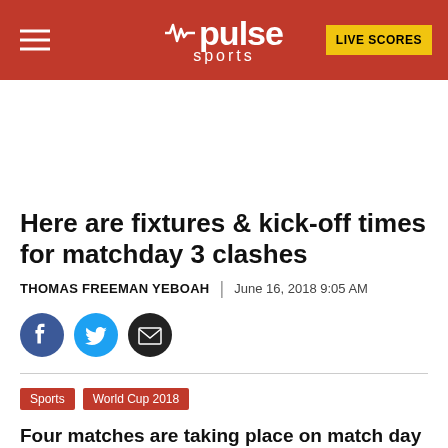Pulse Sports — LIVE SCORES
Here are fixtures & kick-off times for matchday 3 clashes
THOMAS FREEMAN YEBOAH | June 16, 2018 9:05 AM
[Figure (infographic): Social sharing icons: Facebook, Twitter, Email]
Sports   World Cup 2018
Four matches are taking place on match day